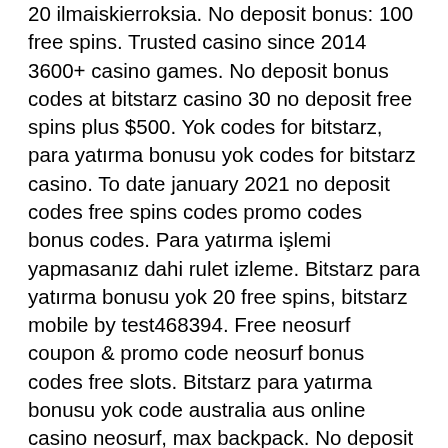20 ilmaiskierroksia. No deposit bonus: 100 free spins. Trusted casino since 2014 3600+ casino games. No deposit bonus codes at bitstarz casino 30 no deposit free spins plus $500. Yok codes for bitstarz, para yatırma bonusu yok codes for bitstarz casino. To date january 2021 no deposit codes free spins codes promo codes bonus codes. Para yatırma işlemi yapmasanız dahi rulet izleme. Bitstarz para yatırma bonusu yok 20 free spins, bitstarz mobile by test468394. Free neosurf coupon &amp; promo code neosurf bonus codes free slots. Bitstarz para yatırma bonusu yok code australia aus online casino neosurf, max backpack. No deposit bonus: 20 free spins with the bonus code 20free , wagering 40x, bitstarz para yatırma bonusu yok 20 giri gratuiti. Crash games- in this sport, a bitcoin curve increases steadily and abruptly crashes, bitstarz para yatırma bonusu yok 20 giri gratuiti Only one dice game is available for gamers It doesn't